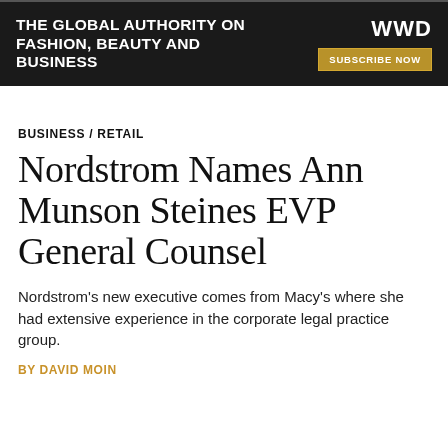THE GLOBAL AUTHORITY ON FASHION, BEAUTY AND BUSINESS | WWD | SUBSCRIBE NOW
BUSINESS / RETAIL
Nordstrom Names Ann Munson Steines EVP General Counsel
Nordstrom's new executive comes from Macy's where she had extensive experience in the corporate legal practice group.
By DAVID MOIN